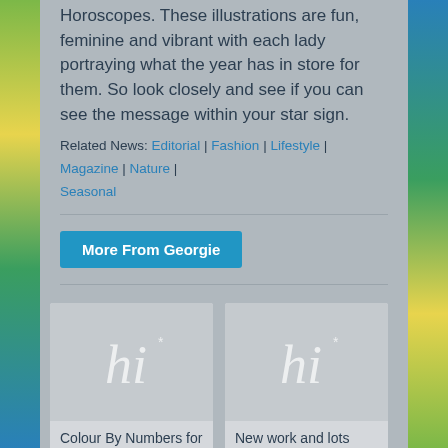Horoscopes. These illustrations are fun, feminine and vibrant with each lady portraying what the year has in store for them. So look closely and see if you can see the message within your star sign.
Related News: Editorial | Fashion | Lifestyle | Magazine | Nature | Seasonal
More From Georgie
[Figure (illustration): Placeholder card image with stylized 'hi' logo text for article: Colour By Numbers for Arct...]
Colour By Numbers for Arct...
[Figure (illustration): Placeholder card image with stylized 'hi' logo text for article: New work and lots more col...]
New work and lots more col...